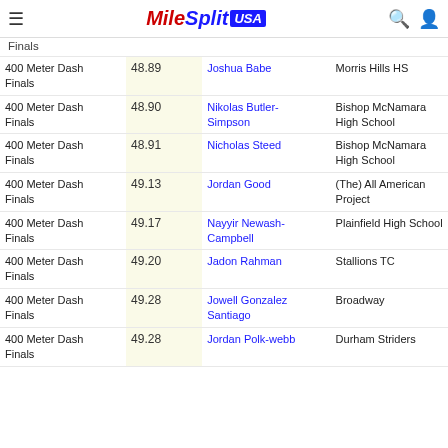MileSplit USA
| Event | Time | Athlete | School |
| --- | --- | --- | --- |
| 400 Meter Dash Finals | 48.89 | Joshua Babe | Morris Hills HS |
| 400 Meter Dash Finals | 48.90 | Nikolas Butler-Simpson | Bishop McNamara High School |
| 400 Meter Dash Finals | 48.91 | Nicholas Steed | Bishop McNamara High School |
| 400 Meter Dash Finals | 49.13 | Jordan Good | (The) All American Project |
| 400 Meter Dash Finals | 49.17 | Nayyir Newash-Campbell | Plainfield High School |
| 400 Meter Dash Finals | 49.20 | Jadon Rahman | Stallions TC |
| 400 Meter Dash Finals | 49.28 | Jowell Gonzalez Santiago | Broadway |
| 400 Meter Dash Finals | 49.28 | Jordan Polk-webb | Durham Striders |